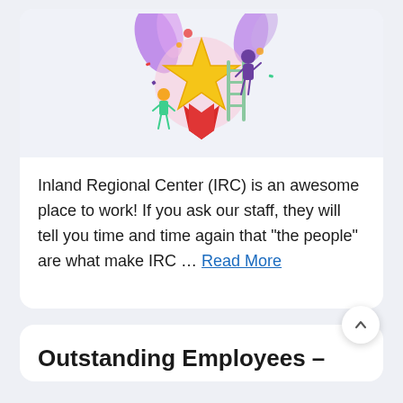[Figure (illustration): Colorful illustration of people celebrating around a large gold star award medal with tropical leaves decoration]
Inland Regional Center (IRC) is an awesome place to work! If you ask our staff, they will tell you time and time again that “the people” are what make IRC … Read More
Outstanding Employees –